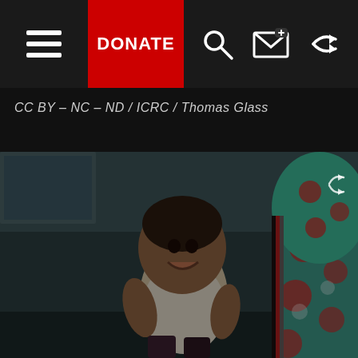[Figure (screenshot): Website navigation bar with hamburger menu, red DONATE button, search, email, and share icons on dark background]
CC BY-NC-ND / ICRC / Thomas Glass
[Figure (photo): Dark photograph of a young toddler sitting and smiling, with a woman in colorful patterned head covering visible on the right side, in a dim room with teal-green walls]